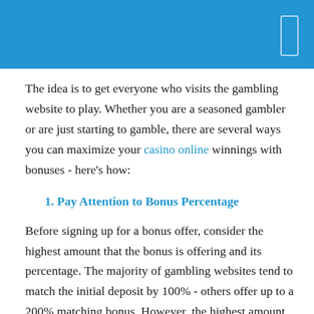The idea is to get everyone who visits the gambling website to play. Whether you are a seasoned gambler or are just starting to gamble, there are several ways you can maximize your casino online winnings with bonuses - here's how:
1. Pay Attention to Bonus Percentage
Before signing up for a bonus offer, consider the highest amount that the bonus is offering and its percentage. The majority of gambling websites tend to match the initial deposit by 100% - others offer up to a 200% matching bonus. However, the highest amount can vary widely - from a $50 offer to an unlimited amount. Looking at the